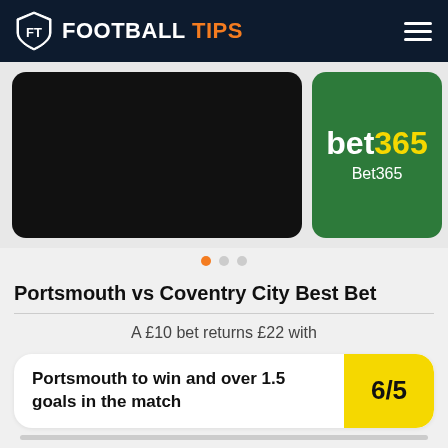FOOTBALL TIPS
[Figure (screenshot): Carousel with a black image on the left and a Bet365 green logo panel on the right]
Portsmouth vs Coventry City Best Bet
A £10 bet returns £22 with
Portsmouth to win and over 1.5 goals in the match  6/5